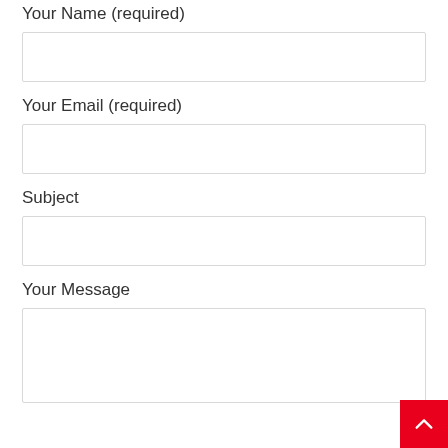Your Name (required)
Your Email (required)
Subject
Your Message